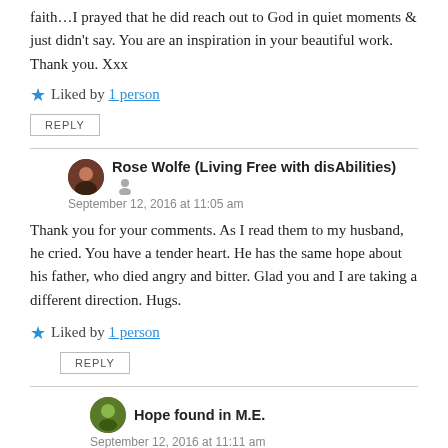faith…I prayed that he did reach out to God in quiet moments & just didn't say. You are an inspiration in your beautiful work. Thank you. Xxx
★ Liked by 1 person
REPLY
Rose Wolfe (Living Free with disAbilities) — September 12, 2016 at 11:05 am
Thank you for your comments. As I read them to my husband, he cried. You have a tender heart. He has the same hope about his father, who died angry and bitter. Glad you and I are taking a different direction. Hugs.
★ Liked by 1 person
REPLY
Hope found in M.E. — September 12, 2016 at 11:11 am
I was hestitant to share that Rose, but I'm so glad I did. Will pray your husband can be at peace about his father. I appreciate it's difficult. God bless you both. Hugs from here. Xx